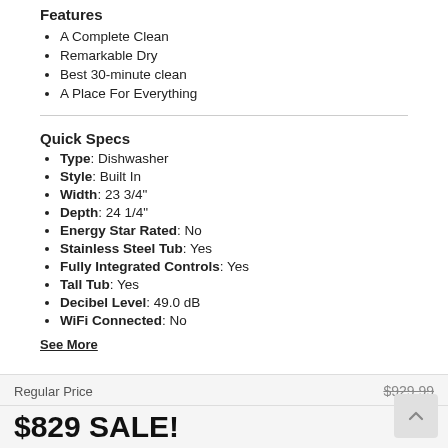Features
A Complete Clean
Remarkable Dry
Best 30-minute clean
A Place For Everything
Quick Specs
Type: Dishwasher
Style: Built In
Width: 23 3/4"
Depth: 24 1/4"
Energy Star Rated: No
Stainless Steel Tub: Yes
Fully Integrated Controls: Yes
Tall Tub: Yes
Decibel Level: 49.0 dB
WiFi Connected: No
See More
Regular Price   $929.99
$829 SALE!